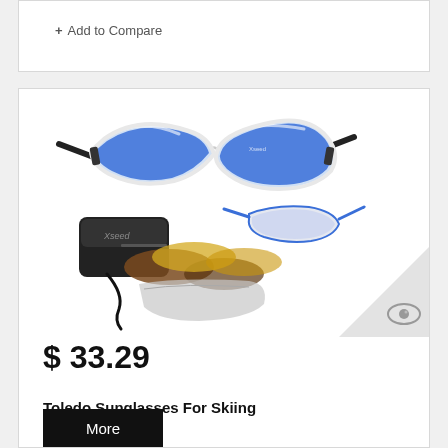+ Add to Compare
[Figure (photo): Sports sunglasses with blue mirrored lenses (Toledo brand), white/black frame, shown with accessories: case, extra lens sets in yellow and brown, and a cord]
$ 33.29
Toledo Sunglasses For Skiing
More